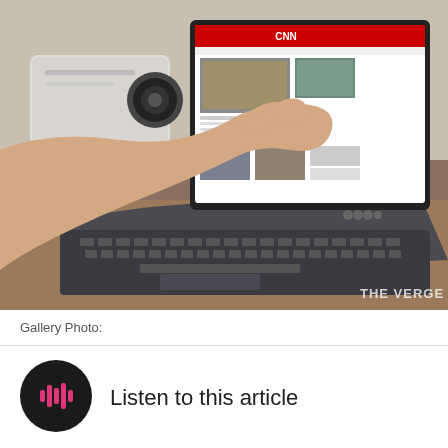[Figure (photo): A person's hand touching or using a laptop/tablet hybrid device (convertible) on a desk. The screen shows CNN website. A projector is visible in the background. The Verge watermark is in the bottom right corner of the photo.]
Gallery Photo:
[Figure (infographic): Black circular play button icon with pink/magenta audio waveform bars inside, representing an audio player button.]
Listen to this article